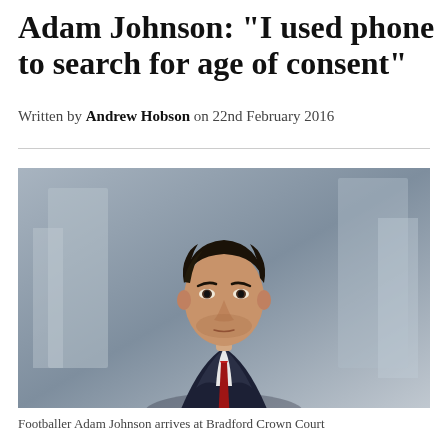Adam Johnson: "I used phone to search for age of consent"
Written by Andrew Hobson on 22nd February 2016
[Figure (photo): Footballer Adam Johnson in a dark navy suit and red tie, photographed against a blurred urban background, arriving at Bradford Crown Court]
Footballer Adam Johnson arrives at Bradford Crown Court